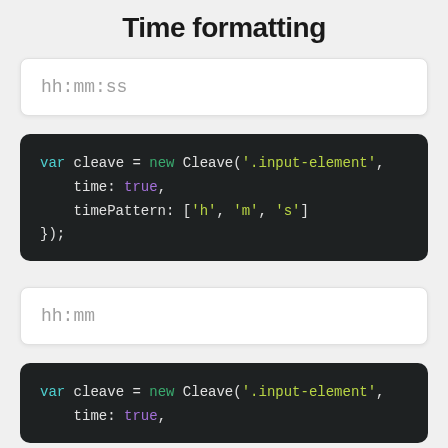Time formatting
[Figure (screenshot): Input box showing placeholder text 'hh:mm:ss']
var cleave = new Cleave('.input-element',
    time: true,
    timePattern: ['h', 'm', 's']
});
[Figure (screenshot): Input box showing placeholder text 'hh:mm']
var cleave = new Cleave('.input-element',
    time: true,